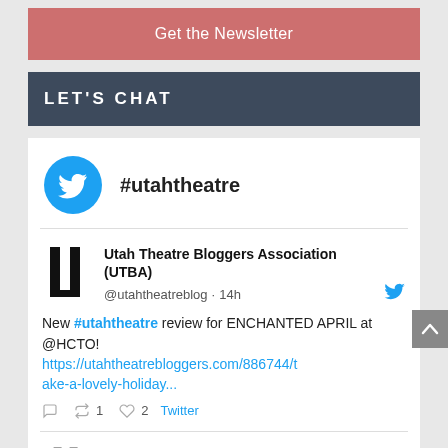Get the Newsletter
LET'S CHAT
#utahtheatre
Utah Theatre Bloggers Association (UTBA)
@utahtheatreblog · 14h
New #utahtheatre review for ENCHANTED APRIL at @HCTO!
https://utahtheatrebloggers.com/886744/take-a-lovely-holiday...
◯  ↺ 1  ♡ 2  Twitter
Utah Theatre Bloggers Association (UTBA)